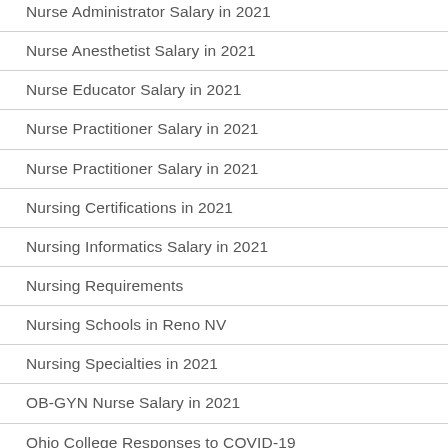Nurse Administrator Salary in 2021
Nurse Anesthetist Salary in 2021
Nurse Educator Salary in 2021
Nurse Practitioner Salary in 2021
Nurse Practitioner Salary in 2021
Nursing Certifications in 2021
Nursing Informatics Salary in 2021
Nursing Requirements
Nursing Schools in Reno NV
Nursing Specialties in 2021
OB-GYN Nurse Salary in 2021
Ohio College Responses to COVID-19
Oncology Nurse Salary in 2021